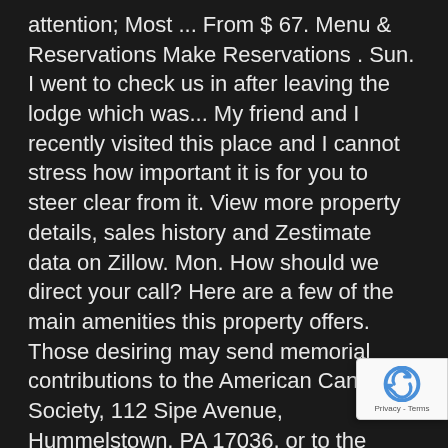attention; Most ... From $ 67. Menu & Reservations Make Reservations . Sun. I went to check us in after leaving the lodge which was... My friend and I recently visited this place and I cannot stress how important it is for you to steer clear from it. View more property details, sales history and Zestimate data on Zillow. Mon. How should we direct your call? Here are a few of the main amenities this property offers. Those desiring may send memorial contributions to the American Cancer Society, 112 Sipe Avenue, Hummelstown, PA 17036, or to the Crohn's & Colitis Foundation, National Processing Center, PO Box 1245, Albert Lea, MN 56007-9976. Op 24 hours. 2.8 miles from Hersheypark Stadiu #28 Best Value of 863 places to stay in Hershey
[Figure (other): reCAPTCHA badge with logo and Privacy - Terms text]